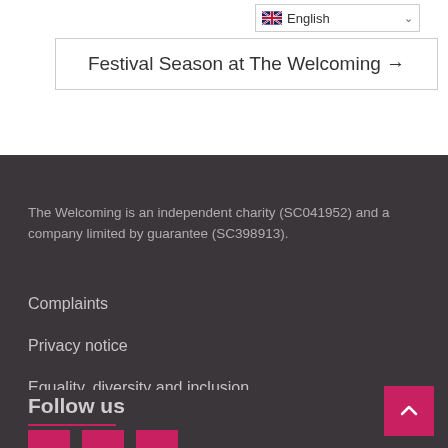[Figure (screenshot): Language selector dropdown showing English with UK flag]
Festival Season at The Welcoming →
The Welcoming is an independent charity (SC041952) and a company limited by guarantee (SC398913).
Complaints
Privacy notice
Equality, diversity and inclusion
Follow us
[Figure (other): Social media icon buttons in pink/magenta]